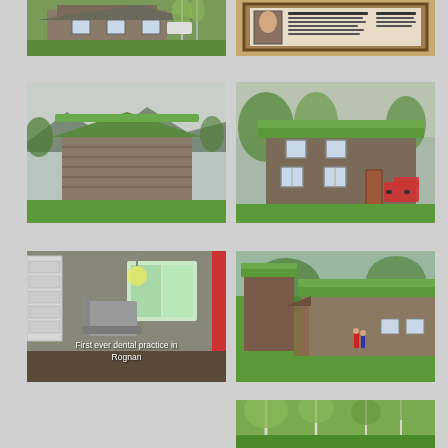[Figure (photo): Old wooden house/cabin with green grass in foreground, birch trees in background, grey weathered wood siding]
[Figure (photo): Information board/sign with a portrait photo of a person and text panels, mounted on wooden frame outdoors]
[Figure (photo): Small old weathered wooden barn or outbuilding with sod/grass roof, grey wood, green field]
[Figure (photo): Two-storey old wooden house with sod/grass roof, multiple windows, vehicles parked in background]
[Figure (photo): Interior of dental practice room with dental chair, equipment, cabinets; caption reads 'First ever dental practice in Rognan']
[Figure (photo): Old wooden farm buildings with sod/grass roof, green lawn, people visible in background]
[Figure (photo): Partial view of trees and green landscape, partial image at bottom of page]